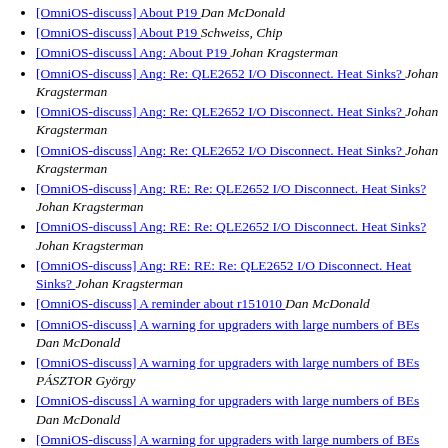[OmniOS-discuss] About P19  Dan McDonald
[OmniOS-discuss] About P19  Schweiss, Chip
[OmniOS-discuss] Ang: About P19  Johan Kragsterman
[OmniOS-discuss] Ang: Re: QLE2652 I/O Disconnect. Heat Sinks?  Johan Kragsterman
[OmniOS-discuss] Ang: Re: QLE2652 I/O Disconnect. Heat Sinks?  Johan Kragsterman
[OmniOS-discuss] Ang: Re: QLE2652 I/O Disconnect. Heat Sinks?  Johan Kragsterman
[OmniOS-discuss] Ang: RE: Re: QLE2652 I/O Disconnect. Heat Sinks?  Johan Kragsterman
[OmniOS-discuss] Ang: RE: Re: QLE2652 I/O Disconnect. Heat Sinks?  Johan Kragsterman
[OmniOS-discuss] Ang: RE: RE: Re: QLE2652 I/O Disconnect. Heat Sinks?  Johan Kragsterman
[OmniOS-discuss] A reminder about r151010  Dan McDonald
[OmniOS-discuss] A warning for upgraders with large numbers of BEs  Dan McDonald
[OmniOS-discuss] A warning for upgraders with large numbers of BEs  PÁSZTOR György
[OmniOS-discuss] A warning for upgraders with large numbers of BEs  Dan McDonald
[OmniOS-discuss] A warning for upgraders with large numbers of BEs  Andreas Luka